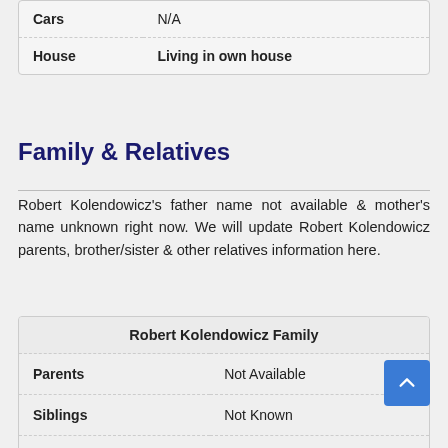| Property | Value |
| --- | --- |
| Cars | N/A |
| House | Living in own house |
Family & Relatives
Robert Kolendowicz's father name not available & mother's name unknown right now. We will update Robert Kolendowicz parents, brother/sister & other relatives information here.
| Robert Kolendowicz Family |
| --- |
| Parents | Not Available |
| Siblings | Not Known |
| Spouse(s) | Not Available |